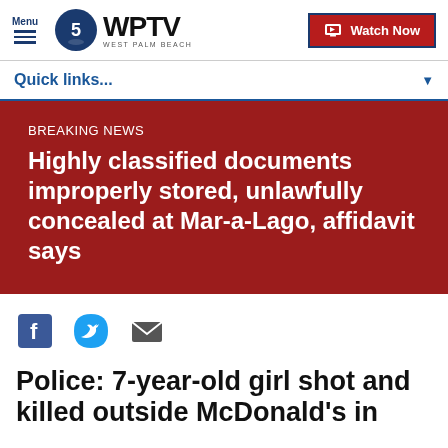Menu | WPTV WEST PALM BEACH | Watch Now
Quick links...
BREAKING NEWS
Highly classified documents improperly stored, unlawfully concealed at Mar-a-Lago, affidavit says
[Figure (other): Social sharing icons: Facebook, Twitter, Email]
Police: 7-year-old girl shot and killed outside McDonald's in